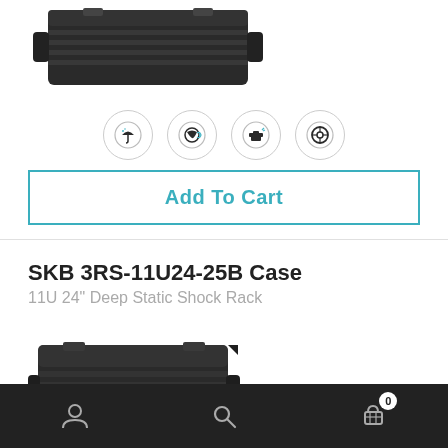[Figure (photo): Top portion of a dark gray/black rugged equipment rack case (SKB), showing ribbed lid and handles]
[Figure (infographic): Four circular icons: weatherproof/umbrella, recycled/earth, smithed/anvil, wheel/tire — product feature badges]
Add To Cart
SKB 3RS-11U24-25B Case
11U 24" Deep Static Shock Rack
[Figure (photo): Dark gray/black rugged SKB 3RS-11U24-25B rack case, 3/4 view showing ribbed lid, latches, and handles]
$1600.59